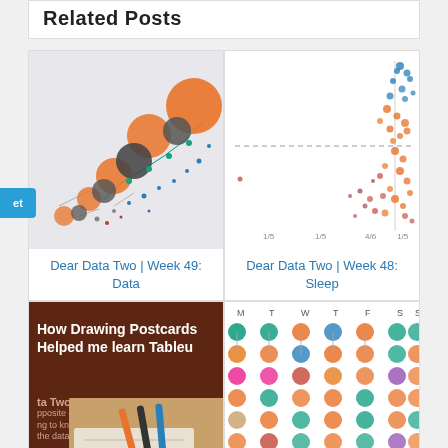Related Posts
[Figure (continuous-plot): Bubble/network scatter plot with orange and dark gray circles of varying sizes connected by lines, on light gray background]
[Figure (continuous-plot): Scatter plot with blue and orange dots clustered in upper right area, with dashed horizontal line, on white background]
Dear Data Two | Week 49: Data
Dear Data Two | Week 48: Sleep
[Figure (photo): Dark brown background with white text 'How Drawing Postcards Helped me learn Tableau' and photo of pens/markers on a notebook]
[Figure (illustration): Grid of colorful circles (teal, orange, pink, purple) arranged in weekday columns M T W T F S S]
Dear Data Two @ Zen
Dear Data Two | Week